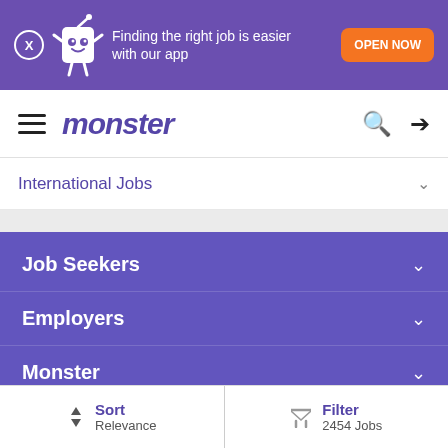[Figure (screenshot): Monster.com app promotional banner with mascot character, text 'Finding the right job is easier with our app', orange OPEN NOW button, and X close button]
monster
International Jobs
Job Seekers
Employers
Monster
Stay Connected
Legal
Sort Relevance
Filter 2454 Jobs